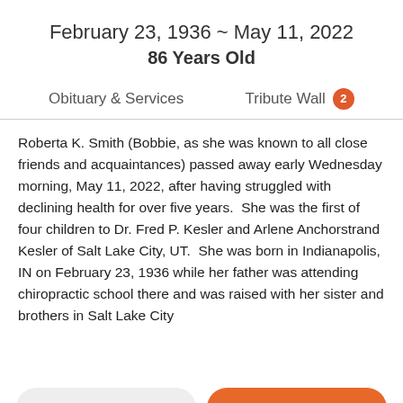February 23, 1936 ~ May 11, 2022
86 Years Old
Obituary & Services
Tribute Wall 2
Roberta K. Smith (Bobbie, as she was known to all close friends and acquaintances) passed away early Wednesday morning, May 11, 2022, after having struggled with declining health for over five years.  She was the first of four children to Dr. Fred P. Kesler and Arlene Anchorstrand Kesler of Salt Lake City, UT.  She was born in Indianapolis, IN on February 23, 1936 while her father was attending chiropractic school there and was raised with her sister and brothers in Salt Lake City
Share a memory
Send Flowers
Plant a Tree